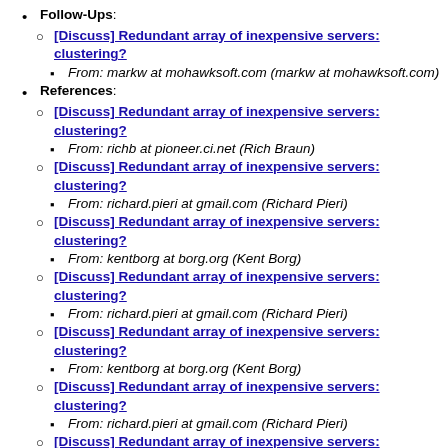Follow-Ups:
[Discuss] Redundant array of inexpensive servers: clustering?
From: markw at mohawksoft.com (markw at mohawksoft.com)
References:
[Discuss] Redundant array of inexpensive servers: clustering?
From: richb at pioneer.ci.net (Rich Braun)
[Discuss] Redundant array of inexpensive servers: clustering?
From: richard.pieri at gmail.com (Richard Pieri)
[Discuss] Redundant array of inexpensive servers: clustering?
From: kentborg at borg.org (Kent Borg)
[Discuss] Redundant array of inexpensive servers: clustering?
From: richard.pieri at gmail.com (Richard Pieri)
[Discuss] Redundant array of inexpensive servers: clustering?
From: kentborg at borg.org (Kent Borg)
[Discuss] Redundant array of inexpensive servers: clustering?
From: richard.pieri at gmail.com (Richard Pieri)
[Discuss] Redundant array of inexpensive servers: clustering?
From: bill.n1vux at gmail.com (Bill Ricker)
[Discuss] Redundant array of inexpensive servers: clustering?
From: richard.pieri at gmail.com (Richard Pieri)
[Discuss] Redundant array of inexpensive servers: clustering?
From: markw at mohawksoft.com (markw at mohawksoft.com)
[Discuss] Redundant array of inexpensive servers: clustering?
From: richard.pieri at gmail.com (Richard Pieri)
[Discuss] Redundant array of inexpensive servers: clustering?